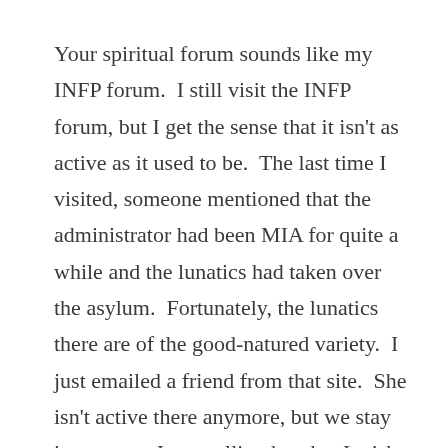Your spiritual forum sounds like my INFP forum.  I still visit the INFP forum, but I get the sense that it isn't as active as it used to be.  The last time I visited, someone mentioned that the administrator had been MIA for quite a while and the lunatics had taken over the asylum.  Fortunately, the lunatics there are of the good-natured variety.  I just emailed a friend from that site.  She isn't active there anymore, but we stay in contact.  I was telling her that I wish I could gather all the interesting people I've found around the net and put them